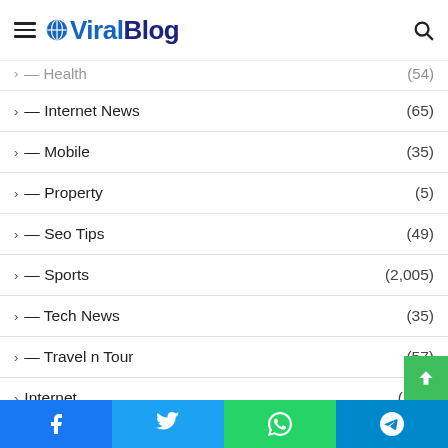ViralBlog
Health (54)
— Internet News (65)
— Mobile (35)
— Property (5)
— Seo Tips (49)
— Sports (2,005)
— Tech News (35)
— Travel n Tour (57)
Internet (122)
Life (49)
Tech
Facebook Twitter WhatsApp Telegram